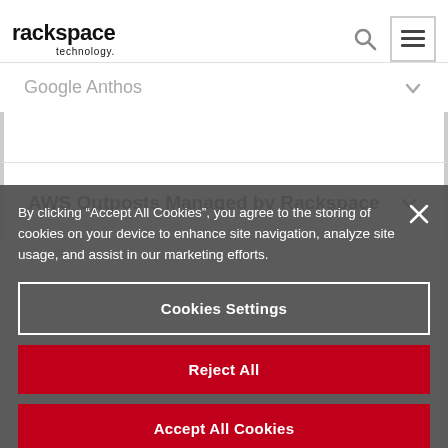rackspace technology.
Google Anthos
AWS Outposts Managed by Rackspace
By clicking “Accept All Cookies”, you agree to the storing of cookies on your device to enhance site navigation, analyze site usage, and assist in our marketing efforts.
Cookies Settings
Reject All
Accept All Cookies